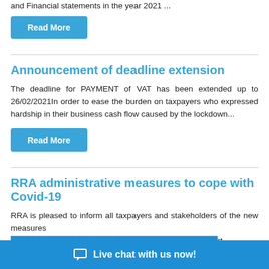and Financial statements in the year 2021 ...
Read More
Announcement of deadline extension
The deadline for PAYMENT of VAT has been extended up to 26/02/2021In order to ease the burden on taxpayers who expressed hardship in their business cash flow caused by the lockdown...
Read More
RRA administrative measures to cope with Covid-19
RRA is pleased to inform all taxpayers and stakeholders of the new measures implemented to help support businesses through the challenges posed by the Covid-19 pandemic.
Live chat with us now!